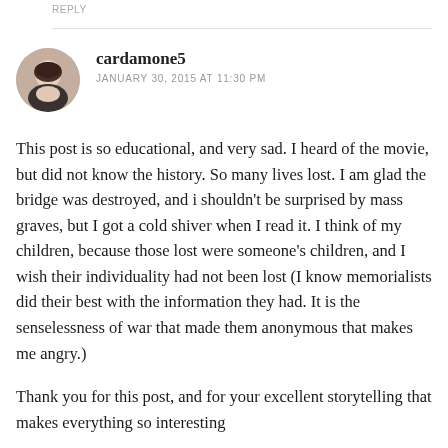REPLY
[Figure (photo): Circular avatar photo of a woman with dark hair wearing a dark jacket, against a light background]
cardamone5
JANUARY 30, 2015 AT 11:30 PM
This post is so educational, and very sad. I heard of the movie, but did not know the history. So many lives lost. I am glad the bridge was destroyed, and i shouldn't be surprised by mass graves, but I got a cold shiver when I read it. I think of my children, because those lost were someone's children, and I wish their individuality had not been lost (I know memorialists did their best with the information they had. It is the senselessness of war that made them anonymous that makes me angry.)
Thank you for this post, and for your excellent storytelling that makes everything so interesting